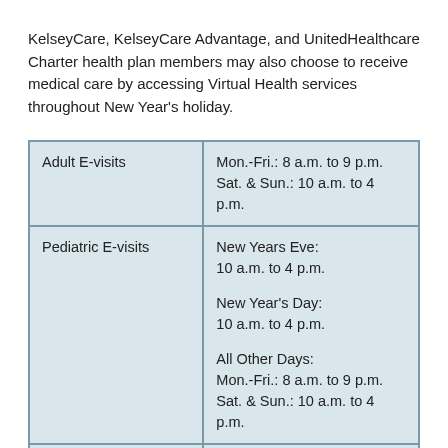KelseyCare, KelseyCare Advantage, and UnitedHealthcare Charter health plan members may also choose to receive medical care by accessing Virtual Health services throughout New Year's holiday.
| Service | Hours |
| --- | --- |
| Adult E-visits | Mon.-Fri.: 8 a.m. to 9 p.m.
Sat. & Sun.: 10 a.m. to 4 p.m. |
| Pediatric E-visits | New Years Eve:
10 a.m. to 4 p.m.

New Year's Day:
10 a.m. to 4 p.m.

All Other Days:
Mon.-Fri.: 8 a.m. to 9 p.m.
Sat. & Sun.: 10 a.m. to 4 p.m. |
|  | New Years Eve:
10 a.m. to 4 p.m.

New Year's D... |